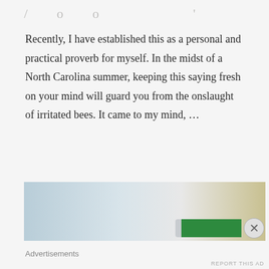/ o o '
Recently, I have established this as a personal and practical proverb for myself. In the midst of a North Carolina summer, keeping this saying fresh on your mind will guard you from the onslaught of irritated bees. It came to my mind, …
Read More »
[Figure (photo): A blurred photograph showing what appears to be a camera lens and a green bar overlay, with an advertisement close button (X) in the lower right corner.]
Advertisements
REPORT THIS AD